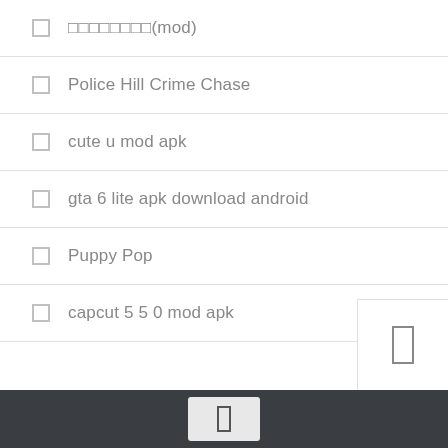□□□□□□□□(mod)
Police Hill Crime Chase
cute u mod apk
gta 6 lite apk download android
Puppy Pop
capcut 5 5 0 mod apk